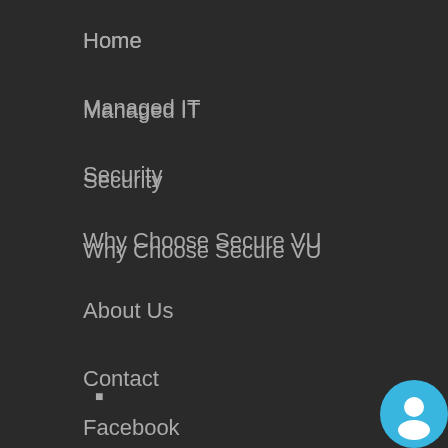Home
Managed IT
Security
Why Choose Secure VU
About Us
Contact
Get Social
■
Schedule My FREE Session NOW!
Facebook